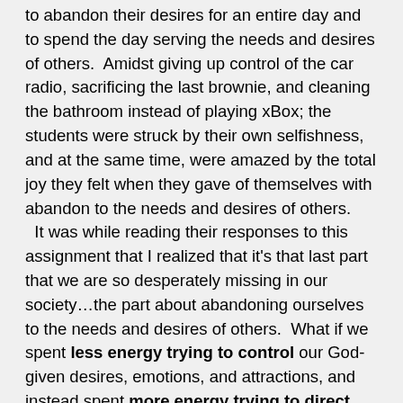to abandon their desires for an entire day and to spend the day serving the needs and desires of others.  Amidst giving up control of the car radio, sacrificing the last brownie, and cleaning the bathroom instead of playing xBox; the students were struck by their own selfishness, and at the same time, were amazed by the total joy they felt when they gave of themselves with abandon to the needs and desires of others.
  It was while reading their responses to this assignment that I realized that it's that last part that we are so desperately missing in our society…the part about abandoning ourselves to the needs and desires of others.  What if we spent less energy trying to control our God-given desires, emotions, and attractions, and instead spent more energy trying to direct them toward willing the good of others?  How the world would change!
* Carol is a teacher and coach at St. Thomas More High School in Rapid City, SD.  She and her husband, Dan, have three amazing